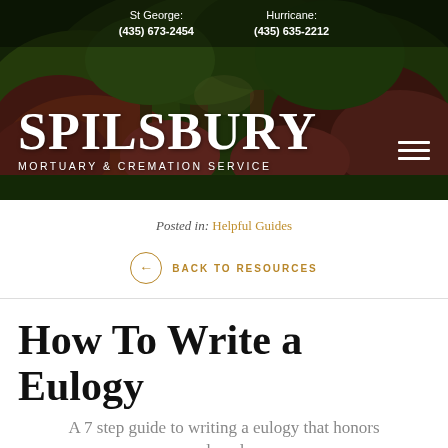[Figure (photo): Header banner with lush garden background featuring red and green foliage and trees, with dark overlay. Contains contact information bar at top, Spilsbury Mortuary & Cremation Service logo on lower left, and hamburger menu icon on lower right.]
St George: (435) 673-2454    Hurricane: (435) 635-2212
Posted in: Helpful Guides
← BACK TO RESOURCES
How To Write a Eulogy
A 7 step guide to writing a eulogy that honors your loved one.